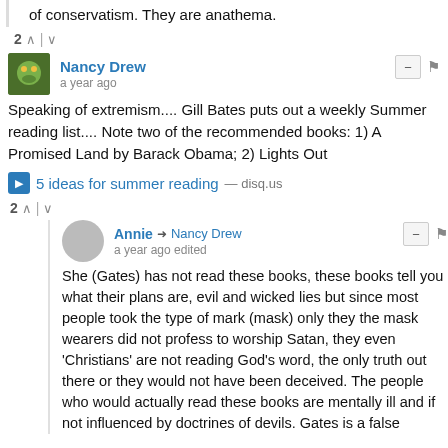of conservatism. They are anathema.
2 ∧ | ∨
Nancy Drew • a year ago
Speaking of extremism.... Gill Bates puts out a weekly Summer reading list.... Note two of the recommended books: 1) A Promised Land by Barack Obama; 2) Lights Out
5 ideas for summer reading — disq.us
2 ∧ | ∨
Annie → Nancy Drew • a year ago edited
She (Gates) has not read these books, these books tell you what their plans are, evil and wicked lies but since most people took the type of mark (mask) only they the mask wearers did not profess to worship Satan, they even 'Christians' are not reading God's word, the only truth out there or they would not have been deceived. The people who would actually read these books are mentally ill and if not influenced by doctrines of devils. Gates is a false